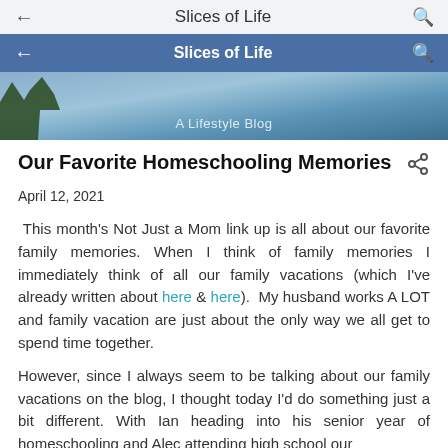Slices of Life
← Slices of Life
[Figure (photo): Hero banner with sky background and tree silhouette, subtitle: A Lifestyle Blog]
Our Favorite Homeschooling Memories
April 12, 2021
This month's Not Just a Mom link up is all about our favorite family memories. When I think of family memories I immediately think of all our family vacations (which I've already written about here & here). My husband works A LOT and family vacation are just about the only way we all get to spend time together.
However, since I always seem to be talking about our family vacations on the blog, I thought today I'd do something just a bit different. With Ian heading into his senior year of homeschooling and Alec attending high school our